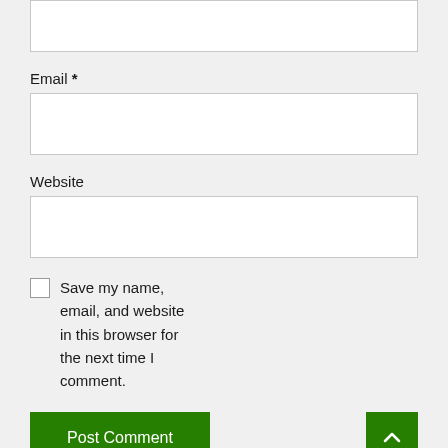[Figure (screenshot): Text input box (top, partially visible) with white background and light gray border]
Email *
[Figure (screenshot): Email input text field with white background and light gray border]
Website
[Figure (screenshot): Website input text field with white background and light gray border]
Save my name, email, and website in this browser for the next time I comment.
[Figure (screenshot): Post Comment green button on left, and a green scroll-to-top arrow button on right]